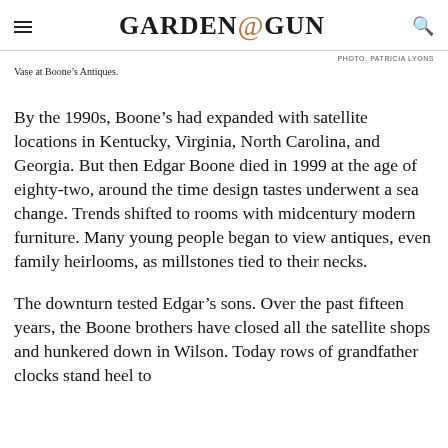GARDEN & GUN
PHOTO: PATRICIA LYONS
Vase at Boone's Antiques.
By the 1990s, Boone's had expanded with satellite locations in Kentucky, Virginia, North Carolina, and Georgia. But then Edgar Boone died in 1999 at the age of eighty-two, around the time design tastes underwent a sea change. Trends shifted to rooms with midcentury modern furniture. Many young people began to view antiques, even family heirlooms, as millstones tied to their necks.
The downturn tested Edgar's sons. Over the past fifteen years, the Boone brothers have closed all the satellite shops and hunkered down in Wilson. Today rows of grandfather clocks stand heel to